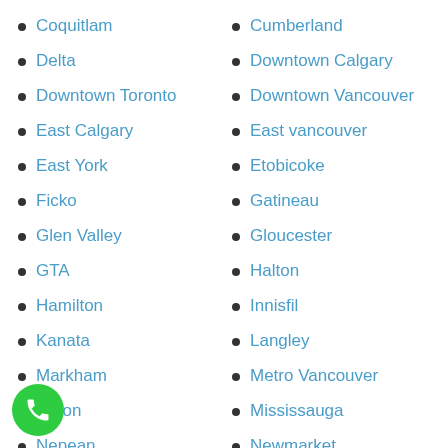Coquitlam
Cumberland
Delta
Downtown Calgary
Downtown Toronto
Downtown Vancouver
East Calgary
East vancouver
East York
Etobicoke
Ficko
Gatineau
Glen Valley
Gloucester
GTA
Halton
Hamilton
Innisfil
Kanata
Langley
Markham
Metro Vancouver
Milton
Mississauga
Nepean
Newmarket
North Calgary
North Vancouver